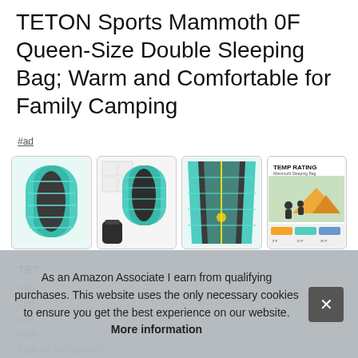TETON Sports Mammoth 0F Queen-Size Double Sleeping Bag; Warm and Comfortable for Family Camping
#ad
[Figure (photo): Four product images of the TETON Sports Mammoth sleeping bag: close-up of teal/gray fabric, full bag with stuff sack, interior view, and temperature rating infographic with family camping photo.]
TETON aga bag sho side fiber fill for warmth.
As an Amazon Associate I earn from qualifying purchases. This website uses the only necessary cookies to ensure you get the best experience on our website. More information